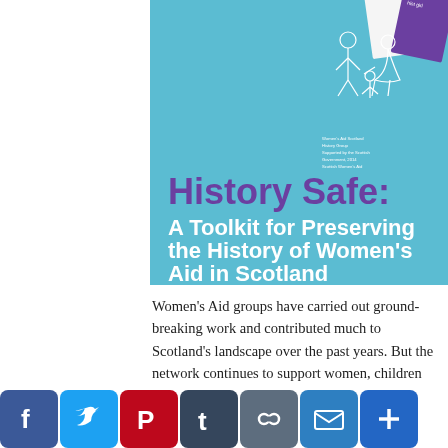[Figure (illustration): Book cover for 'History Safe: A Toolkit for Preserving the History of Women's Aid in Scotland'. Light blue/teal background with a purple title, white subtitle, a line-drawing illustration of women and children in the upper right, small text credits, and a purple booklet and white page fanned out at the top right corner.]
Women's Aid groups have carried out ground-breaking work and contributed much to Scotland's landscape over the past years. But the network continues to support women, children